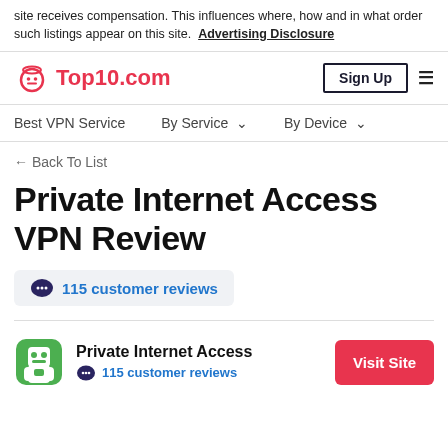site receives compensation. This influences where, how and in what order such listings appear on this site. Advertising Disclosure
[Figure (logo): Top10.com logo with robot/emoji icon in red]
Sign Up
Best VPN Service   By Service ∨   By Device ∨
← Back To List
Private Internet Access VPN Review
115 customer reviews
Private Internet Access  115 customer reviews  Visit Site